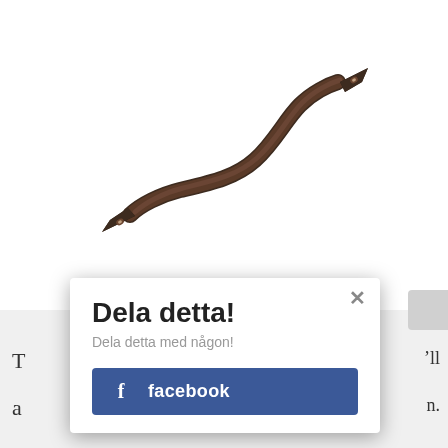[Figure (illustration): An S-shaped dark brown metallic hook or snake-like object with pointed ends, drawn/photographed against a white background.]
Dela detta!
Dela detta med någon!
[Figure (screenshot): Facebook share button — blue rectangle with 'f' icon and label 'facebook']